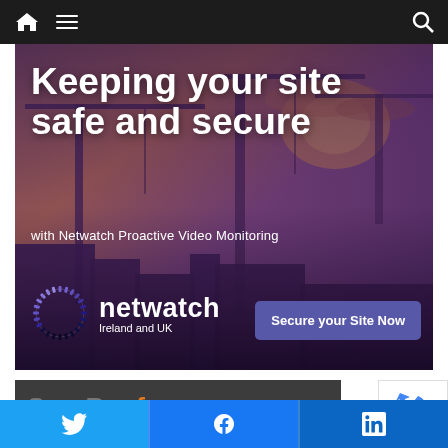Navigation bar with home, menu, and search icons
[Figure (screenshot): Hero banner with industrial construction crane silhouette against a sunset sky, overlaid with purple/dark tint. Contains headline text 'Keeping your site safe and secure', subtitle 'with Netwatch Proactive Video Monitoring', Netwatch Ireland and UK logo with circular spinner emblem, and a 'Secure your Site Now' call-to-action button.]
Keeping your site safe and secure
with Netwatch Proactive Video Monitoring
netwatch Ireland and UK
Secure your Site Now
[Figure (screenshot): Partially visible dark card at the bottom left with large grey/orange text (social share label), and a reCAPTCHA badge visible at the right]
[Figure (infographic): Social share buttons row: Twitter (blue), Facebook (blue), LinkedIn (dark blue) with respective icons f and in]